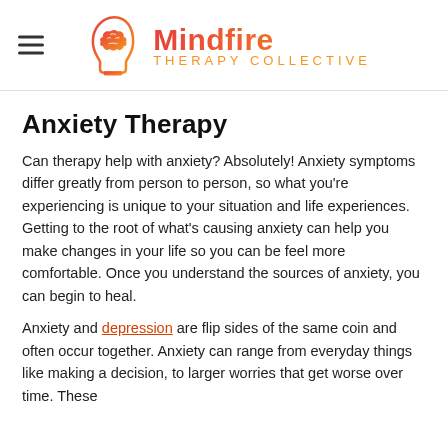Mindfire Therapy Collective
Anxiety Therapy
Can therapy help with anxiety? Absolutely! Anxiety symptoms differ greatly from person to person, so what you're experiencing is unique to your situation and life experiences. Getting to the root of what's causing anxiety can help you make changes in your life so you can be feel more comfortable. Once you understand the sources of anxiety, you can begin to heal.
Anxiety and depression are flip sides of the same coin and often occur together. Anxiety can range from everyday things like making a decision, to larger worries that get worse over time. These